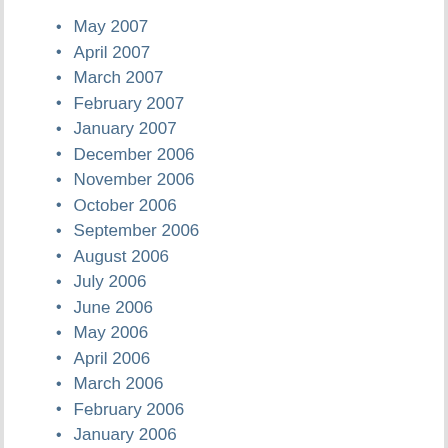May 2007
April 2007
March 2007
February 2007
January 2007
December 2006
November 2006
October 2006
September 2006
August 2006
July 2006
June 2006
May 2006
April 2006
March 2006
February 2006
January 2006
December 2005